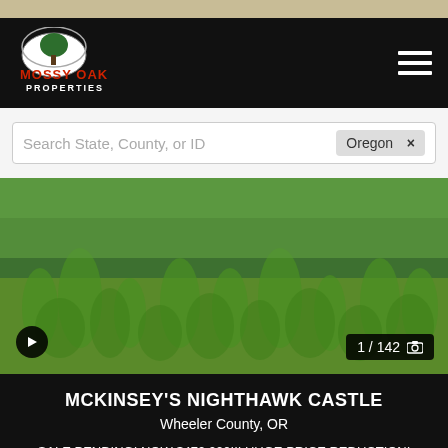[Figure (logo): Mossy Oak Properties logo with tree silhouette in oval and red/white text]
Search State, County, or ID
Oregon ×
[Figure (photo): Grass field, green vegetation landscape photo for property listing]
1 / 142
MCKINSEY'S NIGHTHAWK CASTLE
Wheeler County, OR
SALE PENDING! NOW $470,000!!! HUGE PRICE REDUCTION! MOTIVATED SELLER MUST MOVE! If you ar... with a...
Sort  |  Save Search  |  Filters
641 Acres  |  $470,000